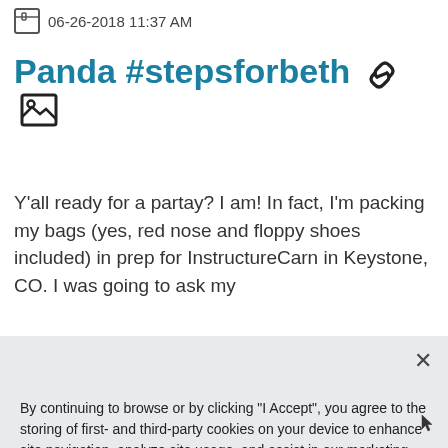06-26-2018 11:37 AM
Panda #stepsforbeth 🔗 🖼
Y'all ready for a partay? I am! In fact, I'm packing my bags (yes, red nose and floppy shoes included) in prep for InstructureCarn in Keystone, CO. I was going to ask my
By continuing to browse or by clicking "I Accept", you agree to the storing of first- and third-party cookies on your device to enhance site navigation, analyze site usage, and assist in our marketing efforts. Privacy Policy
I Accept
Cookies Settings